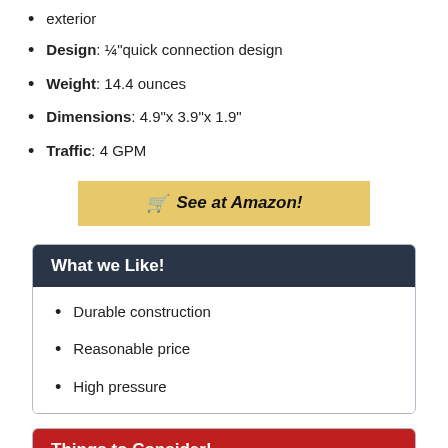exterior
Design: ¼" quick connection design
Weight: 14.4 ounces
Dimensions: 4.9"x 3.9"x 1.9"
Traffic: 4 GPM
See at Amazon!
What we Like!
Durable construction
Reasonable price
High pressure
Things to Consider!
Heavyweight